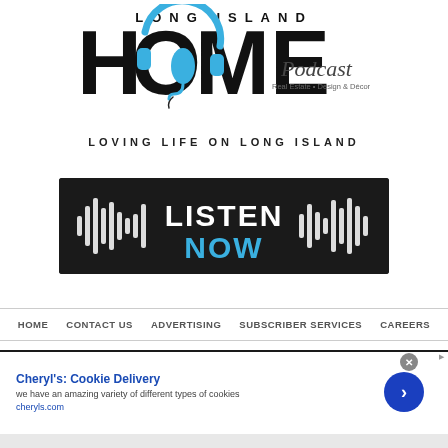[Figure (logo): Long Island Home Podcast logo with headphones on the letter O, text reading LONG ISLAND HOME Podcast Real Estate • Design & Décor]
LOVING LIFE ON LONG ISLAND
[Figure (infographic): Black banner with sound wave graphics on left and right, white text LISTEN and cyan text NOW in the center]
HOME   CONTACT US   ADVERTISING   SUBSCRIBER SERVICES   CAREERS
[Figure (infographic): Advertisement for Cheryl's: Cookie Delivery. Text: we have an amazing variety of different types of cookies. cheryls.com. Blue circular arrow button on right.]